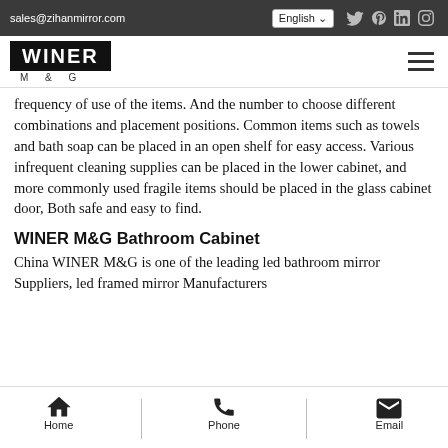sales@zihanmirror.com | English | social icons
[Figure (logo): WINER M&G logo - white text on black background box, with M & G subtitle below]
frequency of use of the items. And the number to choose different combinations and placement positions. Common items such as towels and bath soap can be placed in an open shelf for easy access. Various infrequent cleaning supplies can be placed in the lower cabinet, and more commonly used fragile items should be placed in the glass cabinet door, Both safe and easy to find.
WINER M&G Bathroom Cabinet
China WINER M&G is one of the leading led bathroom mirror Suppliers, led framed mirror Manufacturers
Home | Phone | Email